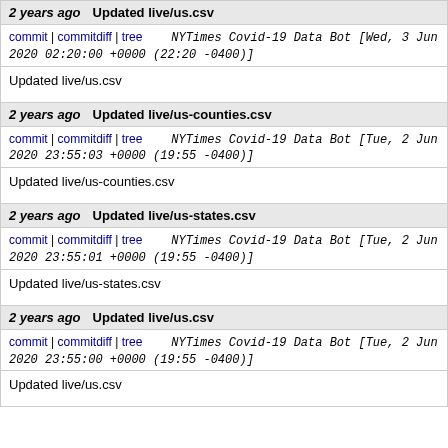2 years ago | Updated live/us.csv | commit | commitdiff | tree | NYTimes Covid-19 Data Bot [Wed, 3 Jun 2020 02:20:00 +0000 (22:20 -0400)] | Updated live/us.csv
2 years ago | Updated live/us-counties.csv | commit | commitdiff | tree | NYTimes Covid-19 Data Bot [Tue, 2 Jun 2020 23:55:03 +0000 (19:55 -0400)] | Updated live/us-counties.csv
2 years ago | Updated live/us-states.csv | commit | commitdiff | tree | NYTimes Covid-19 Data Bot [Tue, 2 Jun 2020 23:55:01 +0000 (19:55 -0400)] | Updated live/us-states.csv
2 years ago | Updated live/us.csv | commit | commitdiff | tree | NYTimes Covid-19 Data Bot [Tue, 2 Jun 2020 23:55:00 +0000 (19:55 -0400)] | Updated live/us.csv